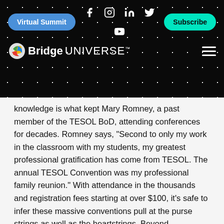Virtual Summit | Subscribe | Bridge Universe
knowledge is what kept Mary Romney, a past member of the TESOL BoD, attending conferences for decades. Romney says, “Second to only my work in the classroom with my students, my greatest professional gratification has come from TESOL. The annual TESOL Convention was my professional family reunion.” With attendance in the thousands and registration fees starting at over $100, it’s safe to infer these massive conventions pull at the purse strings as well as the heartstrings. Beyond registration fees, marketing and advertising from ELT industry exhibitions, ticketed events, publishing sales and merchandise all generate money during the conference, which as charities, goes directly back into serving their members and missions.